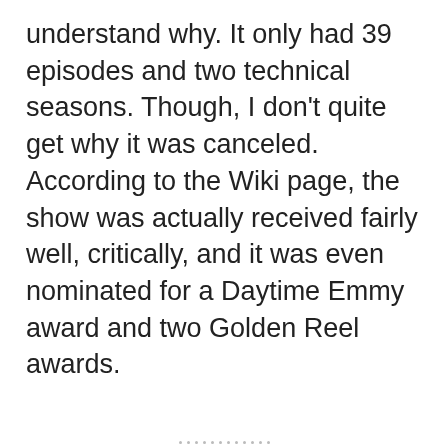understand why. It only had 39 episodes and two technical seasons. Though, I don't quite get why it was canceled. According to the Wiki page, the show was actually received fairly well, critically, and it was even nominated for a Daytime Emmy award and two Golden Reel awards.
[Figure (other): Advertisement banner showing bold text 'and a better world.' with an Apply button and a circular photo of a person]
Privacy & Cookies: This site uses cookies. By continuing to use this website, you agree to their use.
To find out more, including how to control cookies, see here: Cookie Policy
Close and accept